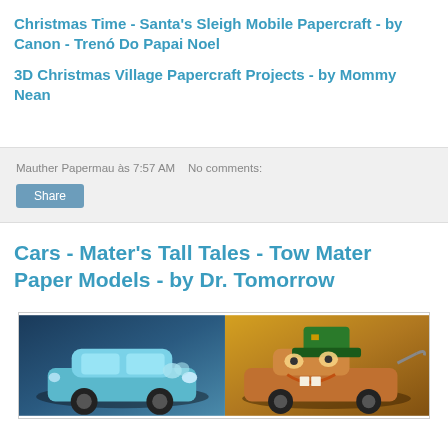Christmas Time - Santa's Sleigh Mobile Papercraft - by Canon - Trenó Do Papai Noel
3D Christmas Village Papercraft Projects - by Mommy Nean
Mauther Papermau às 7:57 AM   No comments:
Share
Cars - Mater's Tall Tales - Tow Mater Paper Models - by Dr. Tomorrow
[Figure (photo): Two cartoon car characters from Cars - Mater's Tall Tales: a blue/teal car on the left and Mater dressed as a leprechaun on the right]